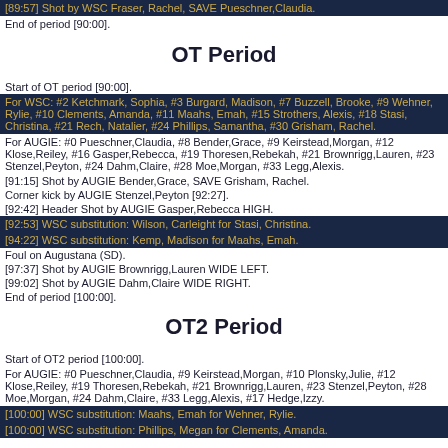[89:57] Shot by WSC Fraser, Rachel, SAVE Pueschner,Claudia.
End of period [90:00].
OT Period
Start of OT period [90:00].
For WSC: #2 Ketchmark, Sophia, #3 Burgard, Madison, #7 Buzzell, Brooke, #9 Wehner, Rylie, #10 Clements, Amanda, #11 Maahs, Emah, #15 Strothers, Alexis, #18 Stasi, Christina, #21 Rech, Natalier, #24 Phillips, Samantha, #30 Grisham, Rachel.
For AUGIE: #0 Pueschner,Claudia, #8 Bender,Grace, #9 Keirstead,Morgan, #12 Klose,Reiley, #16 Gasper,Rebecca, #19 Thoresen,Rebekah, #21 Brownrigg,Lauren, #23 Stenzel,Peyton, #24 Dahm,Claire, #28 Moe,Morgan, #33 Legg,Alexis.
[91:15] Shot by AUGIE Bender,Grace, SAVE Grisham, Rachel.
Corner kick by AUGIE Stenzel,Peyton [92:27].
[92:42] Header Shot by AUGIE Gasper,Rebecca HIGH.
[92:53] WSC substitution: Wilson, Carleight for Stasi, Christina.
[94:22] WSC substitution: Kemp, Madison for Maahs, Emah.
Foul on Augustana (SD).
[97:37] Shot by AUGIE Brownrigg,Lauren WIDE LEFT.
[99:02] Shot by AUGIE Dahm,Claire WIDE RIGHT.
End of period [100:00].
OT2 Period
Start of OT2 period [100:00].
For AUGIE: #0 Pueschner,Claudia, #9 Keirstead,Morgan, #10 Plonsky,Julie, #12 Klose,Reiley, #19 Thoresen,Rebekah, #21 Brownrigg,Lauren, #23 Stenzel,Peyton, #28 Moe,Morgan, #24 Dahm,Claire, #33 Legg,Alexis, #17 Hedge,Izzy.
[100:00] WSC substitution: Maahs, Emah for Wehner, Rylie.
[100:00] WSC substitution: Phillips, Megan for Clements, Amanda.